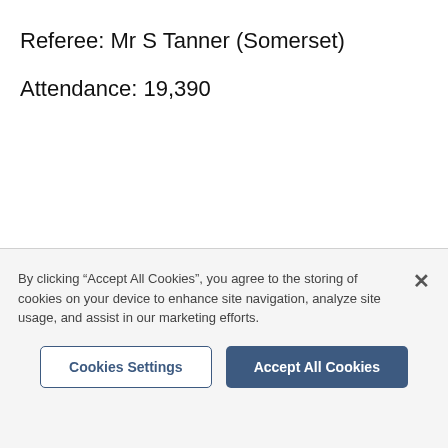Referee: Mr S Tanner (Somerset)
Attendance: 19,390
By clicking “Accept All Cookies”, you agree to the storing of cookies on your device to enhance site navigation, analyze site usage, and assist in our marketing efforts.
Cookies Settings
Accept All Cookies